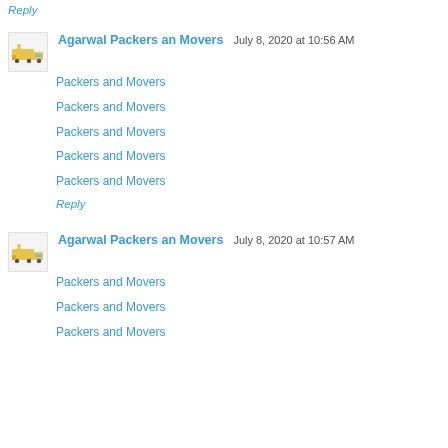Reply
Agarwal Packers an Movers  July 8, 2020 at 10:56 AM
Packers and Movers
Packers and Movers
Packers and Movers
Packers and Movers
Packers and Movers
Reply
Agarwal Packers an Movers  July 8, 2020 at 10:57 AM
Packers and Movers
Packers and Movers
Packers and Movers